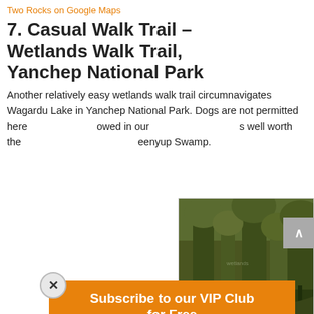Two Rocks on Google Maps
7. Casual Walk Trail – Wetlands Walk Trail, Yanchep National Park
Another relatively easy wetlands walk trail circumnavigates Wagardu Lake in Yanchep National Park. Dogs are not permitted here [but they are all]owed in our [national parks, it is ]s well worth the [visit... Yenyup Swamp / B]eenyup Swamp.
[Figure (screenshot): Modal popup: Subscribe to our VIP Club for Free with First Name, Last Name, Email fields and SUBSCRIBE button, privacy note]
[Figure (photo): Photograph of wetlands vegetation, trees and swampy ground]